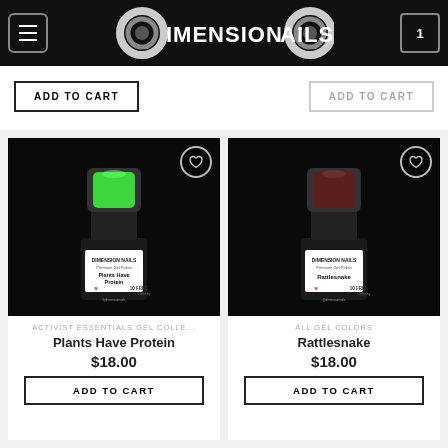Dimension Nails
ADD TO CART (top left)
ADD TO CART (top right)
[Figure (photo): Dimension Nails gel polish bottle with bright green nail color swatch, labeled 'Plants Have Protein', 10 FREE, vegan]
ACTIVIST ESSENTIALS GEL COLLE...
Plants Have Protein
$18.00
ADD TO CART
[Figure (photo): Dimension Nails gel polish bottle with dark brown nail color swatch, labeled 'Rattlesnake', 10 FREE, vegan]
ALL GEL COLORS
Rattlesnake
$18.00
ADD TO CART